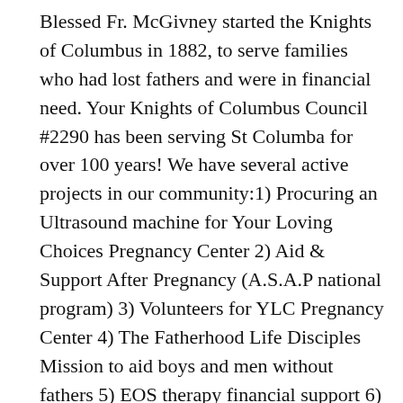Blessed Fr. McGivney started the Knights of Columbus in 1882, to serve families who had lost fathers and were in financial need. Your Knights of Columbus Council #2290 has been serving St Columba for over 100 years! We have several active projects in our community:1) Procuring an Ultrasound machine for Your Loving Choices Pregnancy Center 2) Aid & Support After Pregnancy (A.S.A.P national program) 3) Volunteers for YLC Pregnancy Center 4) The Fatherhood Life Disciples Mission to aid boys and men without fathers 5) EOS therapy financial support 6) Coats for Kids.
Over the next several months you will be hearing more about these and other activities. Membership in the Knights of Columbus & involvement with our missions is an opportunity for men to provide positive Catholic male influences in our society and families. If you are interested in these projects or joining the Knights of Columbus, contact our Grand Knight Dr. Robert Marande